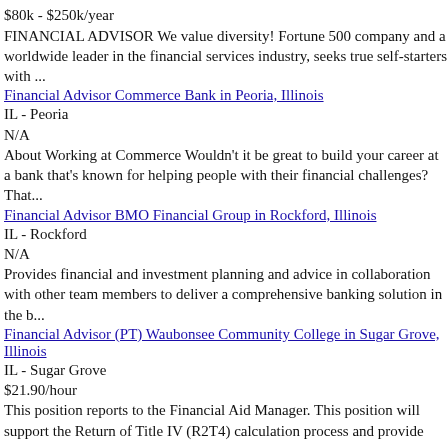$80k - $250k/year
FINANCIAL ADVISOR We value diversity! Fortune 500 company and a worldwide leader in the financial services industry, seeks true self-starters with ...
Financial Advisor Commerce Bank in Peoria, Illinois
IL - Peoria
N/A
About Working at Commerce Wouldn’t it be great to build your career at a bank that’s known for helping people with their financial challenges? That...
Financial Advisor BMO Financial Group in Rockford, Illinois
IL - Rockford
N/A
Provides financial and investment planning and advice in collaboration with other team members to deliver a comprehensive banking solution in the b...
Financial Advisor (PT) Waubonsee Community College in Sugar Grove, Illinois
IL - Sugar Grove
$21.90/hour
This position reports to the Financial Aid Manager. This position will support the Return of Title IV (R2T4) calculation process and provide suppor...
Financial Advisor - Skokie, IL Edward Jones in Skokie, Illinois
IL - Skokie